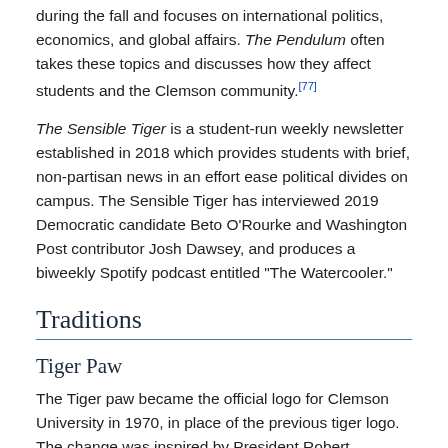during the fall and focuses on international politics, economics, and global affairs. The Pendulum often takes these topics and discusses how they affect students and the Clemson community.[77]
The Sensible Tiger is a student-run weekly newsletter established in 2018 which provides students with brief, non-partisan news in an effort ease political divides on campus. The Sensible Tiger has interviewed 2019 Democratic candidate Beto O'Rourke and Washington Post contributor Josh Dawsey, and produces a biweekly Spotify podcast entitled "The Watercooler."
Traditions
Tiger Paw
The Tiger paw became the official logo for Clemson University in 1970, in place of the previous tiger logo. The change was inspired by President Robert Edwards to